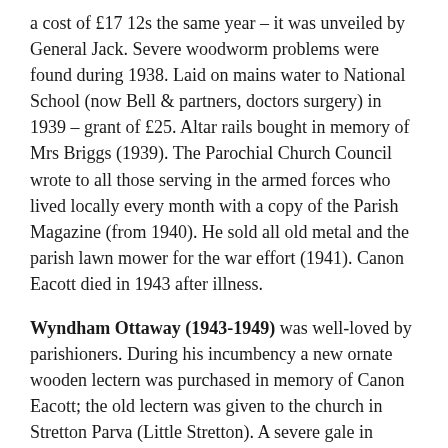a cost of £17 12s the same year – it was unveiled by General Jack. Severe woodworm problems were found during 1938. Laid on mains water to National School (now Bell & partners, doctors surgery) in 1939 – grant of £25. Altar rails bought in memory of Mrs Briggs (1939). The Parochial Church Council wrote to all those serving in the armed forces who lived locally every month with a copy of the Parish Magazine (from 1940). He sold all old metal and the parish lawn mower for the war effort (1941). Canon Eacott died in 1943 after illness.
Wyndham Ottaway (1943-1949) was well-loved by parishioners. During his incumbency a new ornate wooden lectern was purchased in memory of Canon Eacott; the old lectern was given to the church in Stretton Parva (Little Stretton). A severe gale in February 1947 caused minor damage to battlements and pinnacles on the church tower and one of the pinnacles fell and destroyed the roof of the west end of the north aisle which had to be replaced. The repairs took several months and part of the pinnacle had to be re-constructed from the same type of stone. He died very suddenly in 1949. The PCC tried